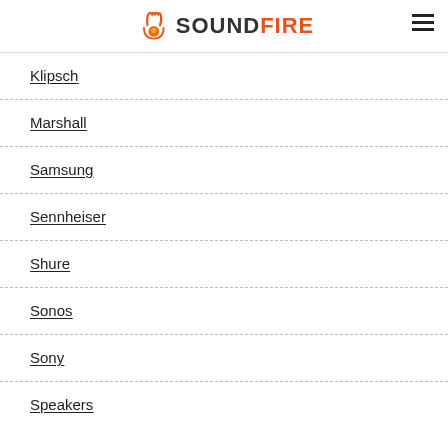SOUNDFIRE
Klipsch
Marshall
Samsung
Sennheiser
Shure
Sonos
Sony
Speakers